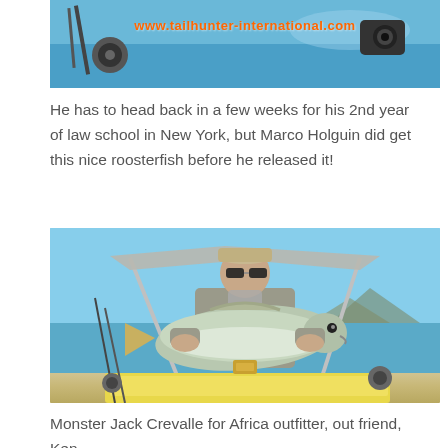[Figure (photo): Top portion of a fishing website banner showing fishing equipment and blue water background with website URL www.tailhunter-international.com in orange text]
He has to head back in a few weeks for his 2nd year of law school in New York, but Marco Holguin did get this nice roosterfish before he released it!
[Figure (photo): Man in grey shirt, cap and sunglasses holding a large Jack Crevalle fish on a boat with blue sky and ocean in the background]
Monster Jack Crevalle for Africa outfitter, out friend, Ken